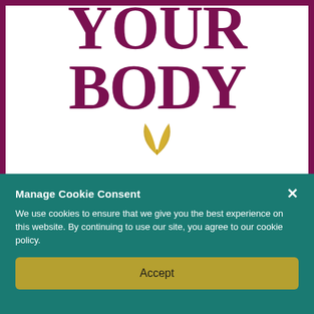[Figure (illustration): Book cover showing large bold dark maroon/wine colored text reading 'TRUST YOUR BODY' with a small heart inside the letter O of BODY, with a golden double-leaf logo below, all on white background with a dark maroon border]
Manage Cookie Consent
We use cookies to ensure that we give you the best experience on this website. By continuing to use our site, you agree to our cookie policy.
Accept